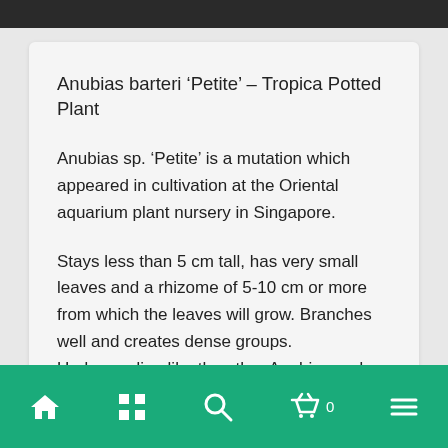Anubias barteri ‘Petite’ – Tropica Potted Plant
Anubias sp. ‘Petite’ is a mutation which appeared in cultivation at the Oriental aquarium plant nursery in Singapore.
Stays less than 5 cm tall, has very small leaves and a rhizome of 5-10 cm or more from which the leaves will grow. Branches well and creates dense groups. Undemanding like the other Anubias and does not appreciate high light intensity either.
Navigation bar: home, grid, search, basket (0), menu